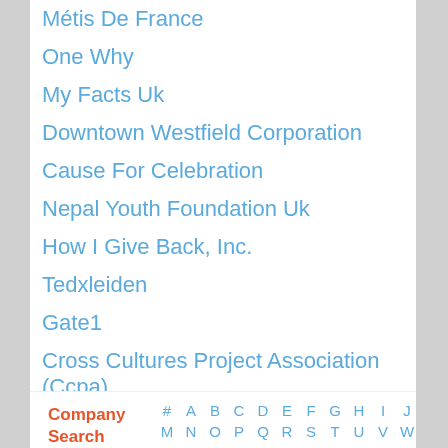Métis De France
One Why
My Facts Uk
Downtown Westfield Corporation
Cause For Celebration
Nepal Youth Foundation Uk
How I Give Back, Inc.
Tedxleiden
Gate1
Cross Cultures Project Association (Ccpa)
Northeastern Iowa Synod
Company Search  # A B C D E F G H I J K L  M N O P Q R S T U V W X